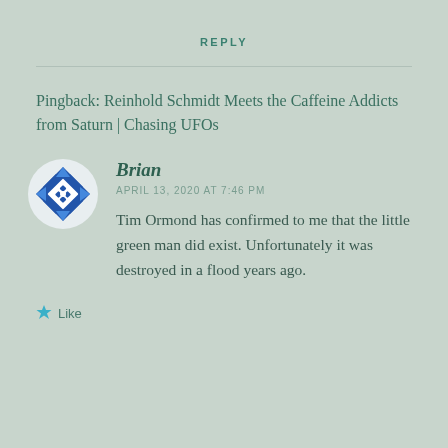REPLY
Pingback: Reinhold Schmidt Meets the Caffeine Addicts from Saturn | Chasing UFOs
[Figure (illustration): Blue and white geometric quilt-pattern avatar icon for user Brian]
Brian
APRIL 13, 2020 AT 7:46 PM
Tim Ormond has confirmed to me that the little green man did exist. Unfortunately it was destroyed in a flood years ago.
Like